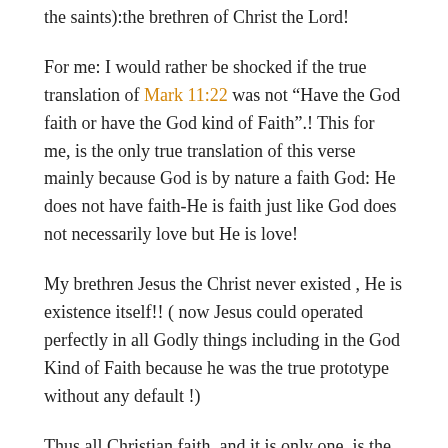the saints):the brethren of Christ the Lord!
For me: I would rather be shocked if the true translation of Mark 11:22 was not “Have the God faith or have the God kind of Faith”.! This for me, is the only true translation of this verse mainly because God is by nature a faith God: He does not have faith-He is faith just like God does not necessarily love but He is love!
My brethren Jesus the Christ never existed , He is existence itself!! ( now Jesus could operated perfectly in all Godly things including in the God Kind of Faith because he was the true prototype without any default !)
Thus all Christian faith, and it is only one, is the God faith or the God kind of faith or the faith that comes from God! It is simply supernatural !!